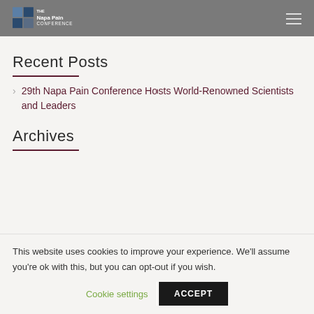The Napa Pain Conference
Recent Posts
29th Napa Pain Conference Hosts World-Renowned Scientists and Leaders
Archives
This website uses cookies to improve your experience. We'll assume you're ok with this, but you can opt-out if you wish.
Cookie settings  ACCEPT